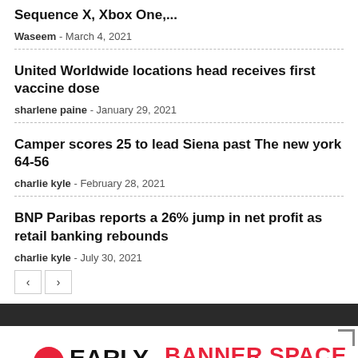Sequence X, Xbox One,...
Waseem - March 4, 2021
United Worldwide locations head receives first vaccine dose
sharlene paine - January 29, 2021
Camper scores 25 to lead Siena past The new york 64-56
charlie kyle - February 28, 2021
BNP Paribas reports a 26% jump in net profit as retail banking rebounds
charlie kyle - July 30, 2021
[Figure (logo): Early Newspaper logo with red E circle icon and BANNER SPACE available for rent advertisement banner]